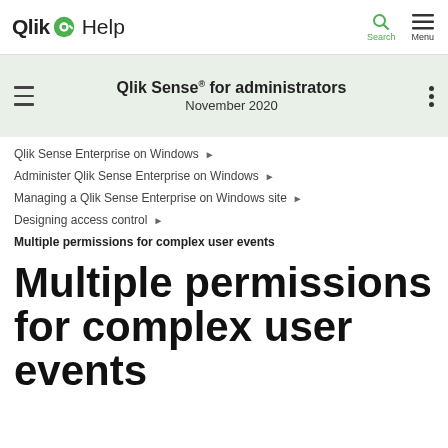Qlik Help   Search   Menu
Qlik Sense® for administrators
November 2020
Qlik Sense Enterprise on Windows ▶
Administer Qlik Sense Enterprise on Windows ▶
Managing a Qlik Sense Enterprise on Windows site ▶
Designing access control ▶
Multiple permissions for complex user events
Multiple permissions for complex user events